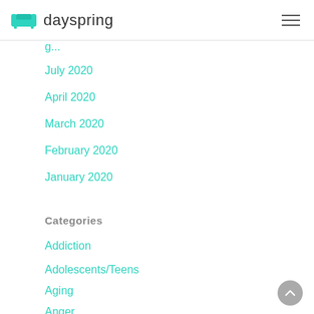dayspring
July 2020
April 2020
March 2020
February 2020
January 2020
Categories
Addiction
Adolescents/Teens
Aging
Anger